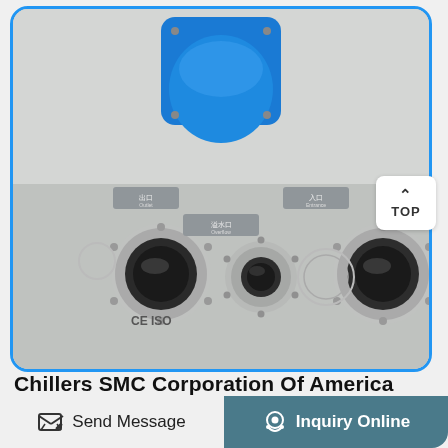[Figure (photo): Close-up photograph of an industrial chiller unit panel showing a large blue knob/cap mounted on a blue square plate in the upper center, and below it three port fittings (two large circular metal ports and one smaller port) with Chinese and English labels for inlet/outlet/overflow. CE and ISO marks visible. The panel is light gray.]
Chillers SMC Corporation Of America
Send Message
Inquiry Online